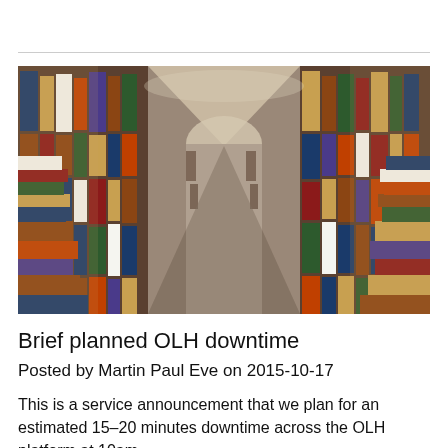[Figure (photo): Photograph of a narrow corridor between tall bookshelves densely packed with books in a library or bookstore, perspective view toward a distant archway]
Brief planned OLH downtime
Posted by Martin Paul Eve on 2015-10-17
This is a service announcement that we plan for an estimated 15–20 minutes downtime across the OLH platform at 10am